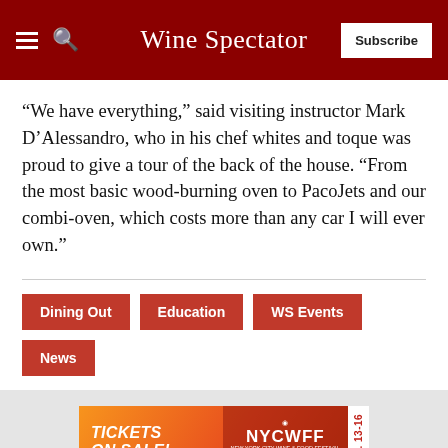Wine Spectator
“We have everything,” said visiting instructor Mark D’Alessandro, who in his chef whites and toque was proud to give a tour of the back of the house. “From the most basic wood-burning oven to PacoJets and our combi-oven, which costs more than any car I will ever own.”
Dining Out
Education
WS Events
News
[Figure (infographic): Advertisement banner for New York City Wine and Food Festival (NYCWFF). Orange-red gradient background with text 'TICKETS ON SALE!' in white italic bold letters. NYCWFF logo and branding on the right. Date 'OCT. 13-16' in vertical text on far right white strip.]